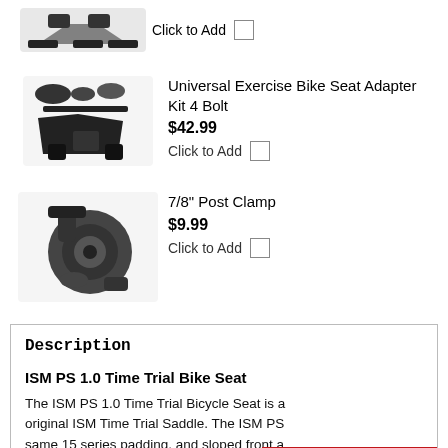[Figure (photo): Partial view of a bike seat adapter kit product image at top of page]
Click to Add □
[Figure (photo): Universal Exercise Bike Seat Adapter Kit 4 Bolt product image]
Universal Exercise Bike Seat Adapter Kit 4 Bolt
$42.99
Click to Add □
[Figure (photo): 7/8" Post Clamp product image]
7/8" Post Clamp
$9.99
Click to Add □
Description
ISM PS 1.0 Time Trial Bike Seat
The ISM PS 1.0 Time Trial Bicycle Seat is a original ISM Time Trial Saddle. The ISM PS same 15 series padding, and sloped front a but with sleek graphics. Similar to the other ISM, the PS 1.0 features a slight upward slope at the rear.